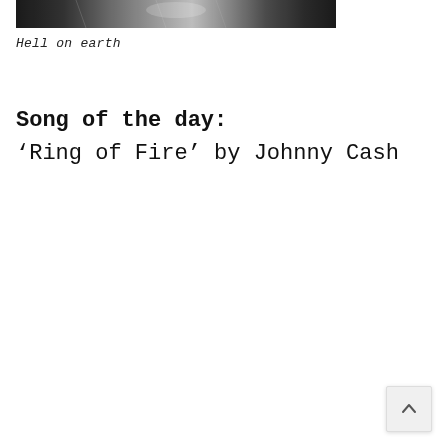[Figure (photo): Black and white photograph strip showing a partial image, appearing dark and grainy like a night scene]
Hell on earth
Song of the day:
‘Ring of Fire’ by Johnny Cash